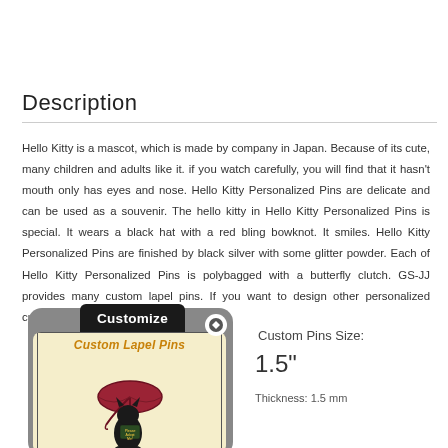Description
Hello Kitty is a mascot, which is made by company in Japan. Because of its cute, many children and adults like it. if you watch carefully, you will find that it hasn't mouth only has eyes and nose. Hello Kitty Personalized Pins are delicate and can be used as a souvenir. The hello kitty in Hello Kitty Personalized Pins is special. It wears a black hat with a red bling bowknot. It smiles. Hello Kitty Personalized Pins are finished by black silver with some glitter powder. Each of Hello Kitty Personalized Pins is polybagged with a butterfly clutch. GS-JJ provides many custom lapel pins. If you want to design other personalized custom pins, NO PROBELM!
[Figure (screenshot): A product customization widget showing a rounded rectangle interface with a 'Customize' dark header tab, an orange arrow button, and an inner content area with 'Custom Lapel Pins' text in italic orange bold, and a cat/umbrella pin illustration below.]
Custom Pins Size:
1.5"
Thickness: 1.5 mm